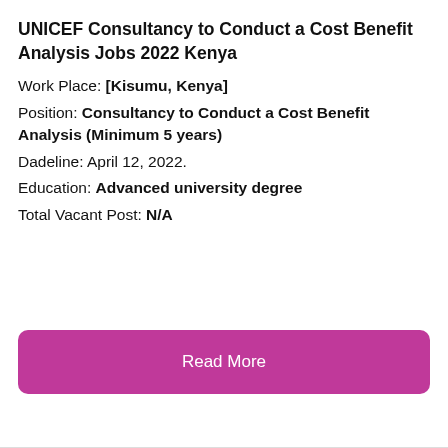UNICEF Consultancy to Conduct a Cost Benefit Analysis Jobs 2022 Kenya
Work Place: [Kisumu, Kenya]
Position: Consultancy to Conduct a Cost Benefit Analysis (Minimum 5 years)
Dadeline: April 12, 2022.
Education: Advanced university degree
Total Vacant Post: N/A
[Figure (other): Read More button — magenta rounded rectangle with white text]